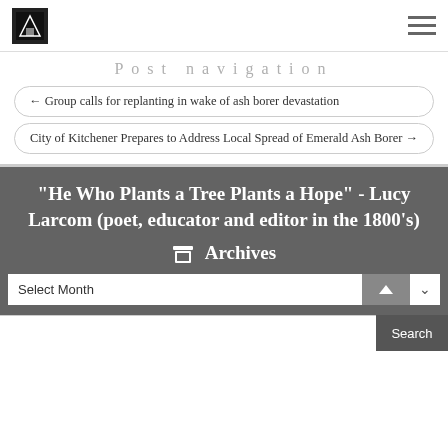Post navigation
← Group calls for replanting in wake of ash borer devastation
City of Kitchener Prepares to Address Local Spread of Emerald Ash Borer →
“He Who Plants a Tree Plants a Hope” - Lucy Larcom (poet, educator and editor in the 1800’s)
Archives
Select Month